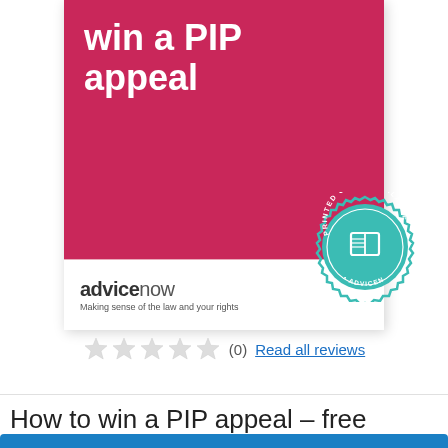[Figure (illustration): Book cover for 'Win a PIP appeal' by Advicenow — bright pink/crimson background with white bold title text, white lower strip showing Advicenow logo and tagline 'Making sense of the law and your rights', and a teal circular 'Printed Guide Available' badge stamp overlapping the lower right corner.]
★★★★★ (0)  Read all reviews
How to win a PIP appeal – free digital guide